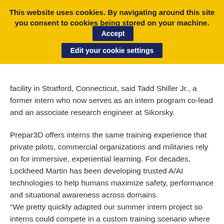This website uses cookies. By navigating around this site you consent to cookies being stored on your machine. Accept Edit your cookie settings
facility in Stratford, Connecticut, said Tadd Shiller Jr., a former intern who now serves as an intern program co-lead and an associate research engineer at Sikorsky.
Prepar3D offers interns the same training experience that private pilots, commercial organizations and militaries rely on for immersive, experiential learning. For decades, Lockheed Martin has been developing trusted A/AI technologies to help humans maximize safety, performance and situational awareness across domains.
“We pretty quickly adapted our summer intern project so interns could compete in a custom training scenario where they are flying modified Lockheed Martin aircraft virtually,” said John Carone, an Associate Manufacturing